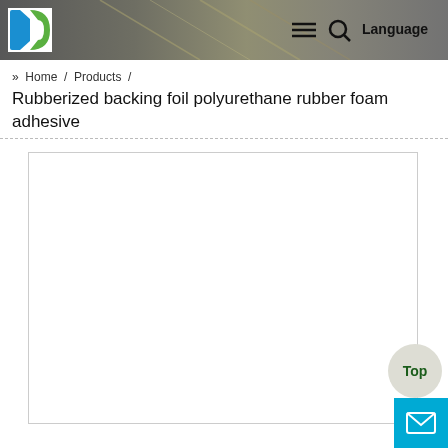[Figure (screenshot): Website header navigation bar with logo, hamburger menu, search icon, and Language text on a dark textured background showing foil/industrial material]
» Home / Products / Rubberized backing foil polyurethane rubber foam adhesive
Rubberized backing foil polyurethane rubber foam adhesive
[Figure (photo): White empty product image placeholder box with a border]
Top
[Figure (other): Mail/envelope icon in a cyan/teal blue square button]